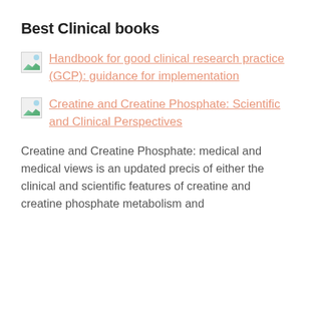Best Clinical books
Handbook for good clinical research practice (GCP): guidance for implementation
Creatine and Creatine Phosphate: Scientific and Clinical Perspectives
Creatine and Creatine Phosphate: medical and medical views is an updated precis of either the clinical and scientific features of creatine and creatine phosphate metabolism and